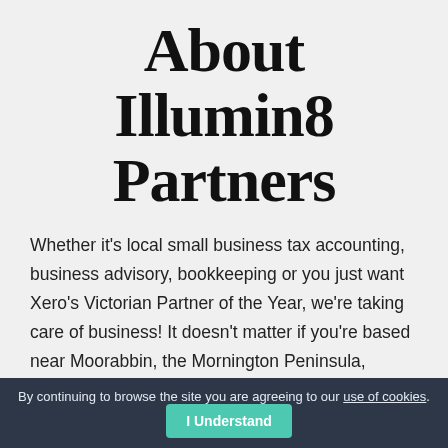About Illumin8 Partners
Whether it's local small business tax accounting, business advisory, bookkeeping or you just want Xero's Victorian Partner of the Year, we're taking care of business! It doesn't matter if you're based near Moorabbin, the Mornington Peninsula, somewhere across Victoria, or Australia, Illumin8 are accounting for your tomorrow.
By continuing to browse the site you are agreeing to our use of cookies. I Understand